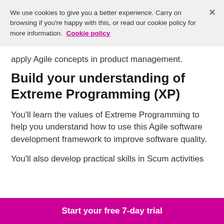We use cookies to give you a better experience. Carry on browsing if you're happy with this, or read our cookie policy for more information. Cookie policy
apply Agile concepts in product management.
Build your understanding of Extreme Programming (XP)
You'll learn the values of Extreme Programming to help you understand how to use this Agile software development framework to improve software quality.
You'll also develop practical skills in Scum activities
Start your free 7-day trial